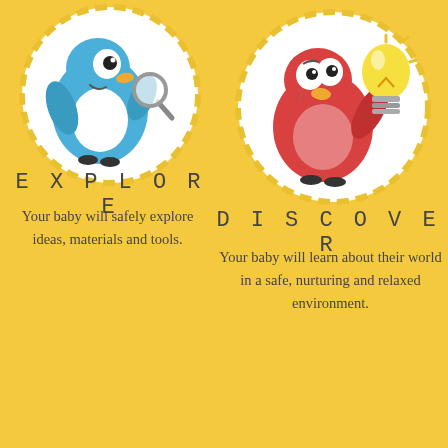[Figure (illustration): Cartoon blue bird-like character holding a magnifying glass inside a circular yellow-bordered frame, on yellow background (left side, top)]
[Figure (illustration): Cartoon red bird-like character holding a yellow lightbulb inside a circular yellow-bordered frame, on yellow background (right side, top)]
EXPLORE
Your baby will safely explore ideas, materials and tools.
DISCOVER
Your baby will learn about their world in a safe, nurturing and relaxed environment.